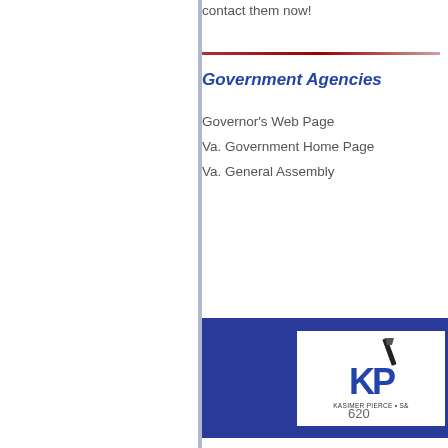contact them now!
Government Agencies
Governor's Web Page
Va. Government Home Page
Va. General Assembly
[Figure (logo): Kasimer Pierce & Sons logo (KPS) with nail graphic, white box on dark blue banner background]
620